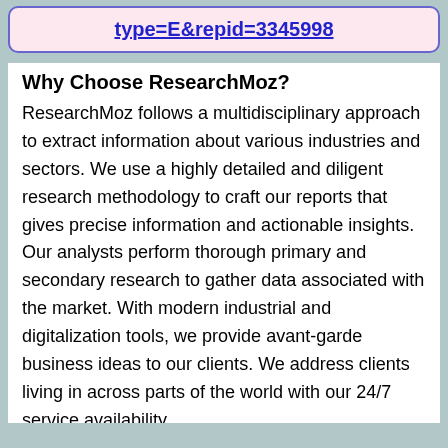type=E&repid=3345998
Why Choose ResearchMoz?
ResearchMoz follows a multidisciplinary approach to extract information about various industries and sectors. We use a highly detailed and diligent research methodology to craft our reports that gives precise information and actionable insights. Our analysts perform thorough primary and secondary research to gather data associated with the market. With modern industrial and digitalization tools, we provide avant-garde business ideas to our clients. We address clients living in across parts of the world with our 24/7 service availability.